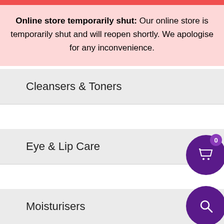Online store temporarily shut: Our online store is temporarily shut and will reopen shortly. We apologise for any inconvenience.
Cleansers & Toners
Eye & Lip Care
Moisturisers